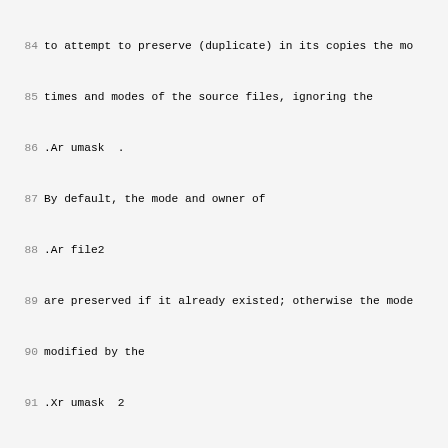84 to attempt to preserve (duplicate) in its copies the mo
85 times and modes of the source files, ignoring the
86 .Ar umask  .
87 By default, the mode and owner of
88 .Ar file2
89 are preserved if it already existed; otherwise the mode
90 modified by the
91 .Xr umask  2
92 on the destination host is used.
93 .It Fl r
94 If any of the source files are directories,
95 .Nm
96 copies each subtree rooted at that name; in this case
97 the destination must be a directory.
98 .It Fl x
99 Turn on
100 .Tn DES
101 encryption for all data passed by
102 .Nm .
103 This may impact response time and
104 .Tn CPU
105 utilization, but provides
106 increased security.
107 .El
108 .Pp
109 If
110 .Ar path
111 is not a full path name, it is interpreted relative to
112 the login directory of the specified user
113 .Ar ruser
114 on
115 .Ar rhost .